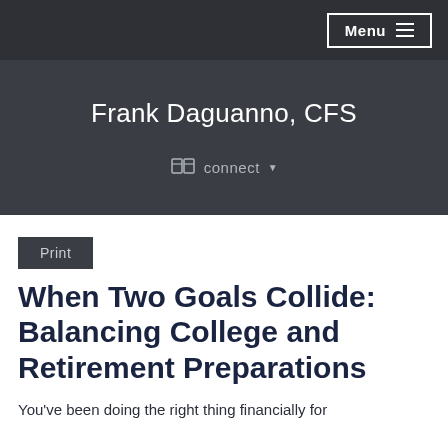Menu
Frank Daguanno, CFS
connect
Print
When Two Goals Collide: Balancing College and Retirement Preparations
You've been doing the right thing financially for